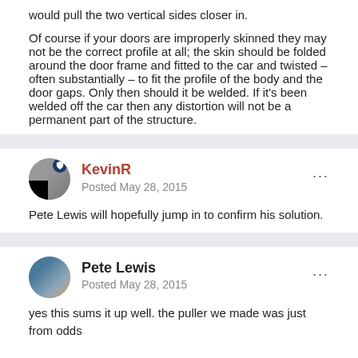would pull the two vertical sides closer in.

Of course if your doors are improperly skinned they may not be the correct profile at all; the skin should be folded around the door frame and fitted to the car and twisted – often substantially – to fit the profile of the body and the door gaps. Only then should it be welded. If it's been welded off the car then any distortion will not be a permanent part of the structure.
KevinR
Posted May 28, 2015
Pete Lewis will hopefully jump in to confirm his solution.
Pete Lewis
Posted May 28, 2015
yes this sums it up well.    the puller we made was just from odds